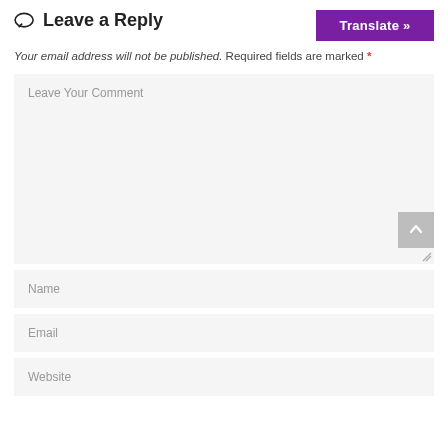Leave a Reply
Translate »
Your email address will not be published. Required fields are marked *
Leave Your Comment
Name
Email
Website